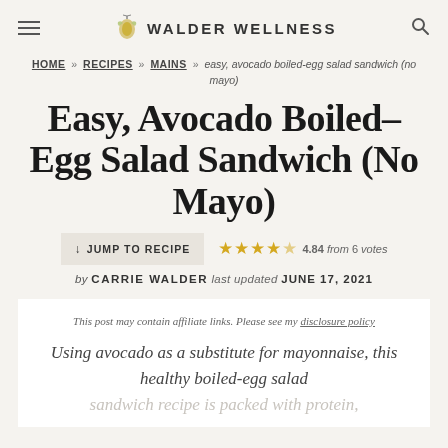WALDER WELLNESS
HOME » RECIPES » MAINS » easy, avocado boiled-egg salad sandwich (no mayo)
Easy, Avocado Boiled-Egg Salad Sandwich (No Mayo)
JUMP TO RECIPE  4.84 from 6 votes
by CARRIE WALDER last updated JUNE 17, 2021
This post may contain affiliate links. Please see my disclosure policy
Using avocado as a substitute for mayonnaise, this healthy boiled-egg salad sandwich recipe is packed with protein,